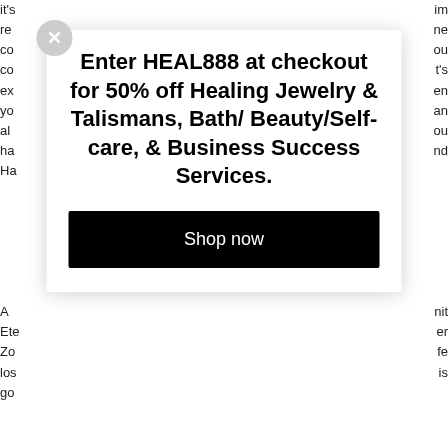it's re co co ex yo al ha Ha
im ne ou t's en an ou nd
[Figure (screenshot): A popup modal overlay with a close button (X), promotional text reading 'Enter HEAL888 at checkout for 50% off Healing Jewelry & Talismans, Bath/ Beauty/Self-care, & Business Success Services.' and a black 'Shop now' button.]
A Ete Zo lo go
nit er fe is
W Pl
na